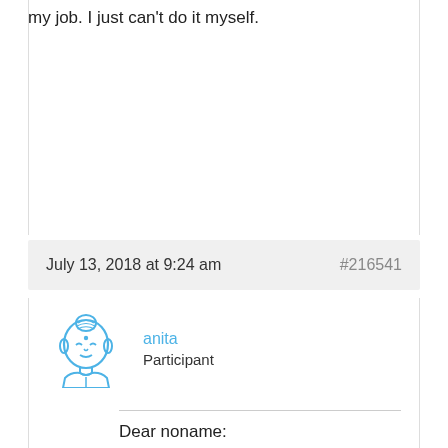my job. I just can't do it myself.
July 13, 2018 at 9:24 am                         #216541
anita
Participant
Dear noname:

I am not tired of responding to you, not